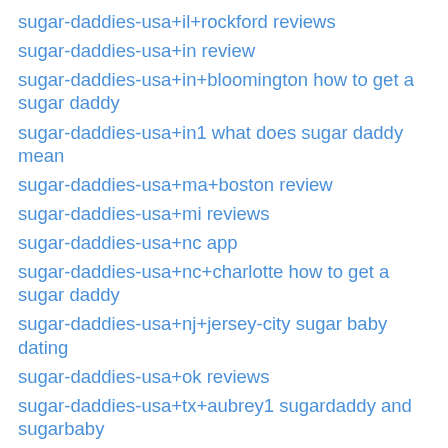sugar-daddies-usa+il+rockford reviews
sugar-daddies-usa+in review
sugar-daddies-usa+in+bloomington how to get a sugar daddy
sugar-daddies-usa+in1 what does sugar daddy mean
sugar-daddies-usa+ma+boston review
sugar-daddies-usa+mi reviews
sugar-daddies-usa+nc app
sugar-daddies-usa+nc+charlotte how to get a sugar daddy
sugar-daddies-usa+nj+jersey-city sugar baby dating
sugar-daddies-usa+ok reviews
sugar-daddies-usa+tx+aubrey1 sugardaddy and sugarbaby